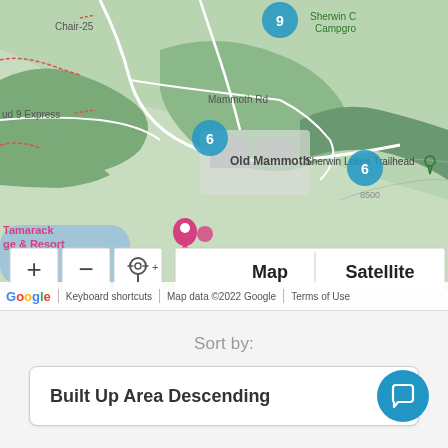[Figure (map): Google Maps view showing Old Mammoth area with terrain features, cluster markers showing numbers 9, 6, 6, and place names including Chair-25, Old Mammoth, Sherwin C Campgro, Sherwin Lakes Trailhead, Tamarack Lodge & Resort, Mammoth Rd. Map controls show +, -, location pin buttons and Map/Satellite toggle. Footer shows Google logo, Keyboard shortcuts, Map data ©2022 Google, Terms of Use.]
Sort by:
Built Up Area Descending